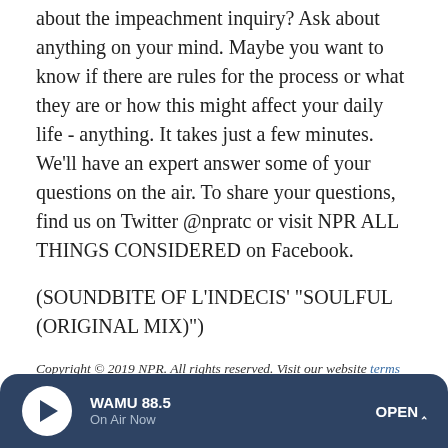about the impeachment inquiry? Ask about anything on your mind. Maybe you want to know if there are rules for the process or what they are or how this might affect your daily life - anything. It takes just a few minutes. We'll have an expert answer some of your questions on the air. To share your questions, find us on Twitter @npratc or visit NPR ALL THINGS CONSIDERED on Facebook.
(SOUNDBITE OF L'INDECIS' "SOULFUL (ORIGINAL MIX)")
Copyright © 2019 NPR. All rights reserved. Visit our website terms of use and permissions pages at www.npr.org for further information.
NPR transcripts are created on a rush deadline by an NPR contractor. This text may not be in its final form and may be updated or revised in the future. Accuracy and
[Figure (other): WAMU 88.5 radio player bar with play button, station name, On Air Now label, and OPEN button]